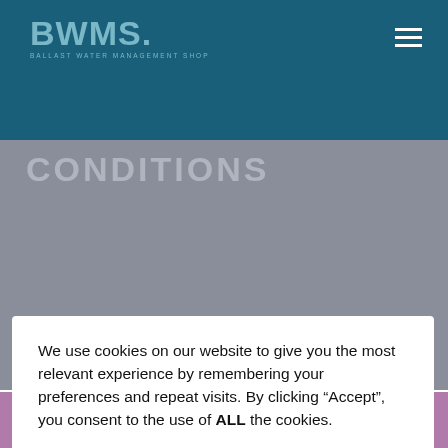BWMS. BALLAST WATER MANAGEMENT SHOP
CONDITIONS
We use cookies on our website to give you the most relevant experience by remembering your preferences and repeat visits. By clicking “Accept”, you consent to the use of ALL the cookies.
Cookie settings | ACCEPT
has entered into an agreement.
3. Parties: BWMS-SHOP.COM and customer together.
4. Consumer: a customer who is an individual acting for private purposes.
Ballast water management parts Dismiss